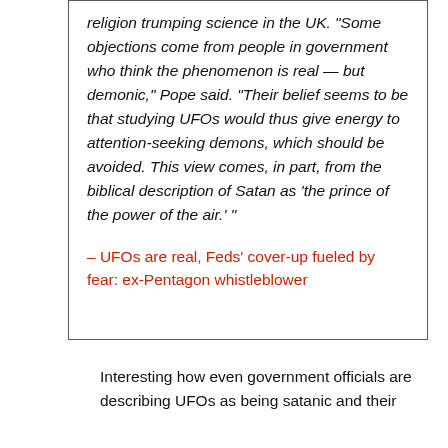religion trumping science in the UK. “Some objections come from people in government who think the phenomenon is real — but demonic,” Pope said. “Their belief seems to be that studying UFOs would thus give energy to attention-seeking demons, which should be avoided. This view comes, in part, from the biblical description of Satan as ‘the prince of the power of the air.’ ”
– UFOs are real, Feds’ cover-up fueled by fear: ex-Pentagon whistleblower
Interesting how even government officials are describing UFOs as being satanic and their